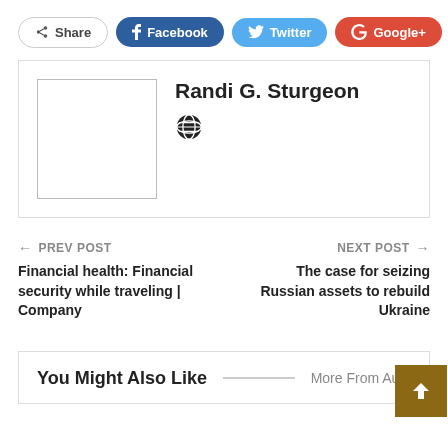Share | Facebook | Twitter | Google+ | +
Randi G. Sturgeon
← PREV POST
Financial health: Financial security while traveling | Company
NEXT POST →
The case for seizing Russian assets to rebuild Ukraine
You Might Also Like   ——————   More From Auth…